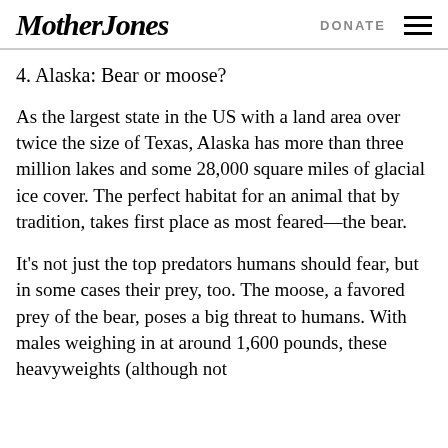Mother Jones | DONATE
4. Alaska: Bear or moose?
As the largest state in the US with a land area over twice the size of Texas, Alaska has more than three million lakes and some 28,000 square miles of glacial ice cover. The perfect habitat for an animal that by tradition, takes first place as most feared—the bear.
It's not just the top predators humans should fear, but in some cases their prey, too. The moose, a favored prey of the bear, poses a big threat to humans. With males weighing in at around 1,600 pounds, these heavyweights (although not